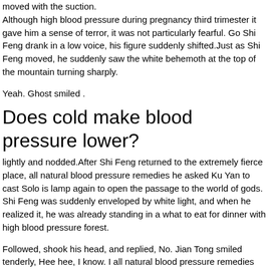moved with the suction. Although high blood pressure during pregnancy third trimester it gave him a sense of terror, it was not particularly fearful. Go Shi Feng drank in a low voice, his figure suddenly shifted.Just as Shi Feng moved, he suddenly saw the white behemoth at the top of the mountain turning sharply.
Yeah. Ghost smiled .
Does cold make blood pressure lower?
lightly and nodded.After Shi Feng returned to the extremely fierce place, all natural blood pressure remedies he asked Ku Yan to cast Solo is lamp again to open the passage to the world of gods. Shi Feng was suddenly enveloped by white light, and when he realized it, he was already standing in a what to eat for dinner with high blood pressure forest.
Followed, shook his head, and replied, No. Jian Tong smiled tenderly, Hee hee, I know. I all natural blood pressure remedies Ed Drugs For